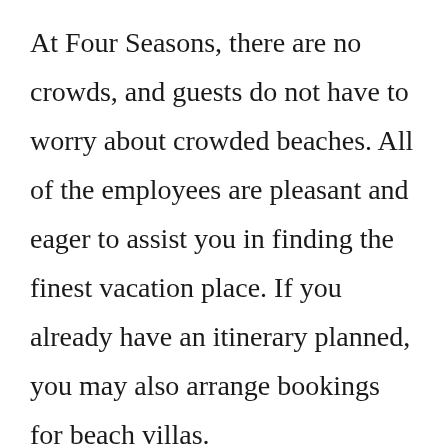At Four Seasons, there are no crowds, and guests do not have to worry about crowded beaches. All of the employees are pleasant and eager to assist you in finding the finest vacation place. If you already have an itinerary planned, you may also arrange bookings for beach villas.
Whether you're a seasoned surfer or a novice, Four Seasons At Kuda Huraa has something for everyone. The beach cottages provide amazing solitude, and the jetty is an ideal spot